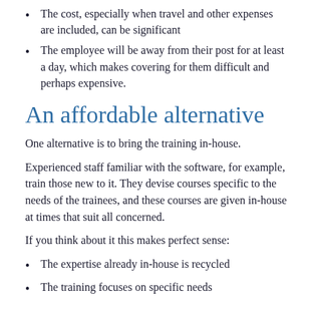The cost, especially when travel and other expenses are included, can be significant
The employee will be away from their post for at least a day, which makes covering for them difficult and perhaps expensive.
An affordable alternative
One alternative is to bring the training in-house.
Experienced staff familiar with the software, for example, train those new to it. They devise courses specific to the needs of the trainees, and these courses are given in-house at times that suit all concerned.
If you think about it this makes perfect sense:
The expertise already in-house is recycled
The training focuses on specific needs